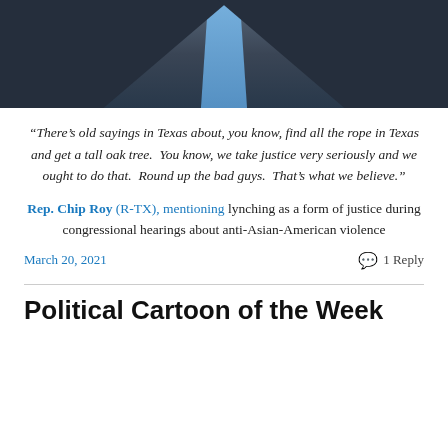[Figure (photo): Cropped photo of a man in a dark suit jacket with a blue patterned tie, visible from chest up]
“There’s old sayings in Texas about, you know, find all the rope in Texas and get a tall oak tree.  You know, we take justice very seriously and we ought to do that.  Round up the bad guys.  That’s what we believe.”
Rep. Chip Roy (R-TX), mentioning lynching as a form of justice during congressional hearings about anti-Asian-American violence
March 20, 2021
1 Reply
Political Cartoon of the Week